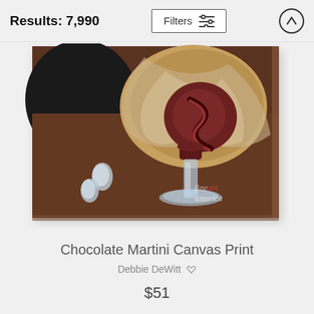Results: 7,990
[Figure (photo): A painting of a chocolate martini glass viewed from above on a canvas print, with swirling chocolate colors, reflective glass stem, and small chocolate candies nearby. Watermark reads 'fine art america'.]
Chocolate Martini Canvas Print
Debbie DeWitt
$51